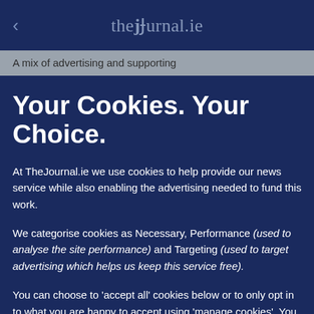< thejournal.ie
A mix of advertising and supporting
Your Cookies. Your Choice.
At TheJournal.ie we use cookies to help provide our news service while also enabling the advertising needed to fund this work.
We categorise cookies as Necessary, Performance (used to analyse the site performance) and Targeting (used to target advertising which helps us keep this service free).
You can choose to 'accept all' cookies below or to only opt in to what you are happy to accept using 'manage cookies'. You can also change your cookie settings at any time and learn more about how we use cookies in our Privacy Policy.